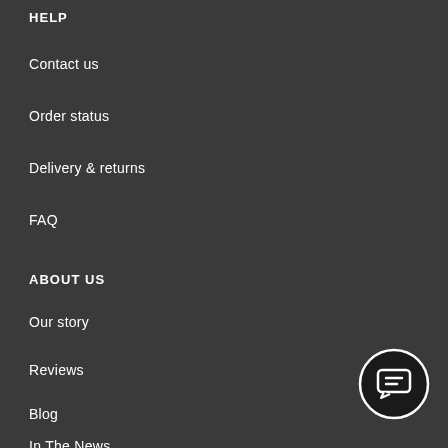HELP
Contact us
Order status
Delivery & returns
FAQ
ABOUT US
Our story
Reviews
Blog
In The News
[Figure (illustration): Circular chat/message icon button in dark with white speech bubble icon]